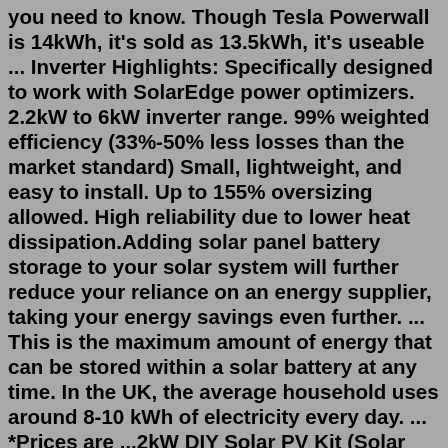you need to know. Though Tesla Powerwall is 14kWh, it's sold as 13.5kWh, it's useable ... Inverter Highlights: Specifically designed to work with SolarEdge power optimizers. 2.2kW to 6kW inverter range. 99% weighted efficiency (33%-50% less losses than the market standard) Small, lightweight, and easy to install. Up to 155% oversizing allowed. High reliability due to lower heat dissipation.Adding solar panel battery storage to your solar system will further reduce your reliance on an energy supplier, taking your energy savings even further. ... This is the maximum amount of energy that can be stored within a solar battery at any time. In the UK, the average household uses around 8-10 kWh of electricity every day. ... *Prices are ...2kW DIY Solar PV Kit (Solar Power) - Solar Supplies UK 2kW DIY Solar PV Kit (Solar Power) £ 1,650.00 2kW DIY Solar PV Kit (Solar Power) Here we have a 2kW Solar PV Kit (Solar Power). This Solar Kit contain everything needed to get you up and running. Yes this includes 8 270W Solar Panels. Out of stockMost domestic solar